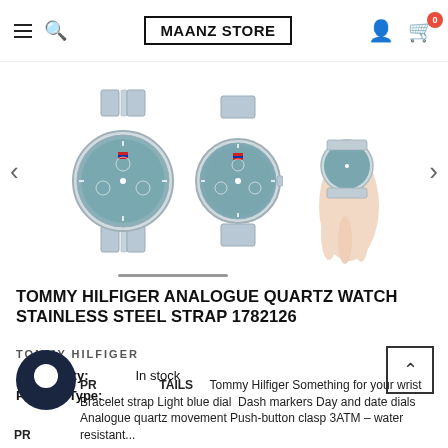MAANZ STORE — navigation header with hamburger, search, logo, user icon, cart (0)
[Figure (photo): Three product images of a Tommy Hilfiger Analogue Quartz Watch with stainless steel strap: front view, side view, and worn on a wrist. Navigation arrows on left and right.]
TOMMY HILFIGER ANALOGUE QUARTZ WATCH STAINLESS STEEL STRAP 1782126
TOMMY HILFIGER
Availability: In stock
Product Type:
PRODUCT DETAILS   Tommy Hilfiger Something for your wrist Bracelet strap Light blue dial  Dash markers Day and date dials Analogue quartz movement Push-button clasp 3ATM – water resistant...